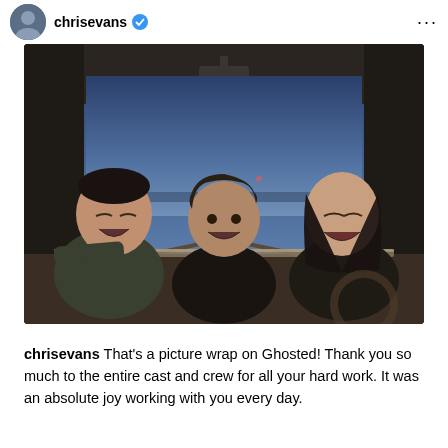chrisevans
[Figure (photo): Three people laughing inside a vintage car viewed through the windshield, shot at dusk/blue hour outdoors. A man on the left leans on the car door laughing, a man in the center smiles broadly, and a woman on the right laughs while seated at the steering wheel.]
chrisevans That's a picture wrap on Ghosted! Thank you so much to the entire cast and crew for all your hard work. It was an absolute joy working with you every day.